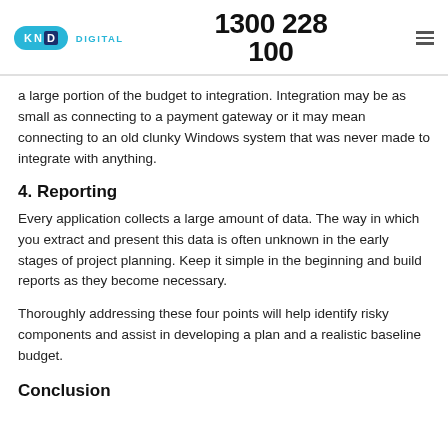KND DIGITAL 1300 228 100
a large portion of the budget to integration. Integration may be as small as connecting to a payment gateway or it may mean connecting to an old clunky Windows system that was never made to integrate with anything.
4. Reporting
Every application collects a large amount of data. The way in which you extract and present this data is often unknown in the early stages of project planning. Keep it simple in the beginning and build reports as they become necessary.
Thoroughly addressing these four points will help identify risky components and assist in developing a plan and a realistic baseline budget.
Conclusion